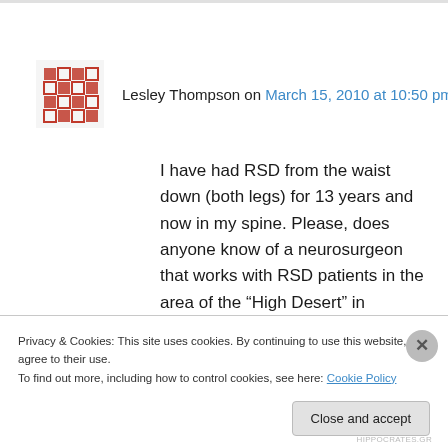Lesley Thompson on March 15, 2010 at 10:50 pm
I have had RSD from the waist down (both legs) for 13 years and now in my spine. Please, does anyone know of a neurosurgeon that works with RSD patients in the area of the “High Desert” in Southern California (Barstow, Victorville) or San Bernardino, Riverside, Loma Lind or even in Los Angeles? I’m desperate for some help! Please let me know!
Privacy & Cookies: This site uses cookies. By continuing to use this website, you agree to their use.
To find out more, including how to control cookies, see here: Cookie Policy